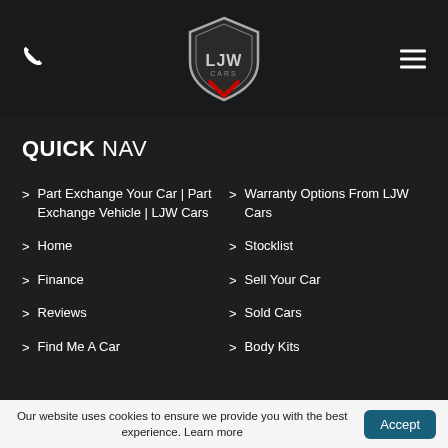[Figure (logo): LJW Cars shield logo in center of dark header bar]
QUICK NAV
Part Exchange Your Car | Part Exchange Vehicle | LJW Cars
Warranty Options From LJW Cars
Home
Stocklist
Finance
Sell Your Car
Reviews
Sold Cars
Find Me A Car
Body Kits
Our website uses cookies to ensure we provide you with the best experience. Learn more  Accept